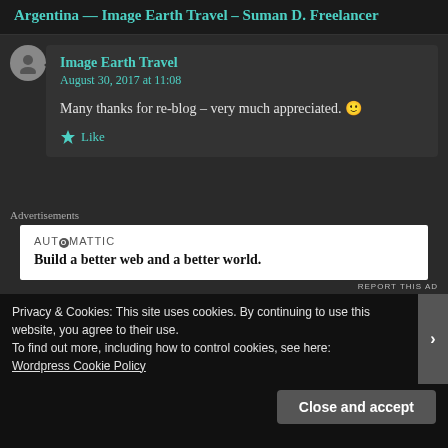Argentina — Image Earth Travel – Suman D. Freelancer
Image Earth Travel
August 30, 2017 at 11:08
Many thanks for re-blog – very much appreciated. 🙂
★ Like
Advertisements
[Figure (other): Automattic advertisement: Build a better web and a better world.]
REPORT THIS AD
Privacy & Cookies: This site uses cookies. By continuing to use this website, you agree to their use.
To find out more, including how to control cookies, see here: Wordpress Cookie Policy
Close and accept